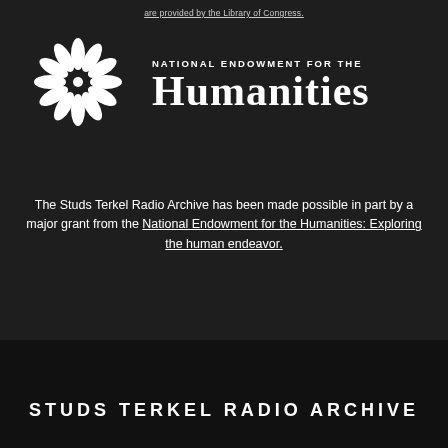are provided by the Library of Congress.
[Figure (logo): National Endowment for the Humanities logo with decorative sunburst/floral emblem and text 'NATIONAL ENDOWMENT FOR THE Humanities']
The Studs Terkel Radio Archive has been made possible in part by a major grant from the National Endowment for the Humanities: Exploring the human endeavor.
STUDS TERKEL RADIO ARCHIVE